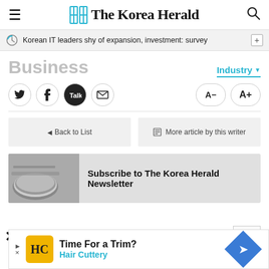The Korea Herald
Korean IT leaders shy of expansion, investment: survey
Business
Industry
[Figure (screenshot): Social sharing buttons (Twitter, Facebook, KakaoTalk, Email) and font size controls (A- and A+)]
[Figure (screenshot): Back to List and More article by this writer navigation buttons]
[Figure (screenshot): Subscribe to The Korea Herald Newsletter banner with newspaper image]
[Figure (screenshot): Advertisement: Time For a Trim? Hair Cuttery with HC logo and navigation arrow icon]